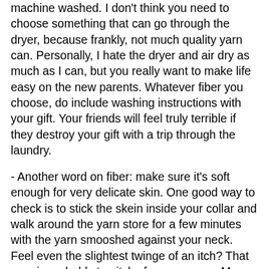machine washed. I don't think you need to choose something that can go through the dryer, because frankly, not much quality yarn can. Personally, I hate the dryer and air dry as much as I can, but you really want to make life easy on the new parents. Whatever fiber you choose, do include washing instructions with your gift. Your friends will feel truly terrible if they destroy your gift with a trip through the laundry.
- Another word on fiber: make sure it's soft enough for very delicate skin. One good way to check is to stick the skein inside your collar and walk around the yarn store for a few minutes with the yarn smooshed against your neck. Feel even the slightest twinge of an itch? That yarn is probably too itchy for a wee one. My favorite yarn, for softness on skin and on the planet, is Blue Sky Alpacas line of organic cottons. Heavenly soft!
- Nap-ability: No buttons or snaps up the back. Babies spend a lot of time sleeping on their backs, and a big ridge of bumpy buttons is not very comfortable. Keep your buttonage to the sides or front. If you need a back-neck closure, go for